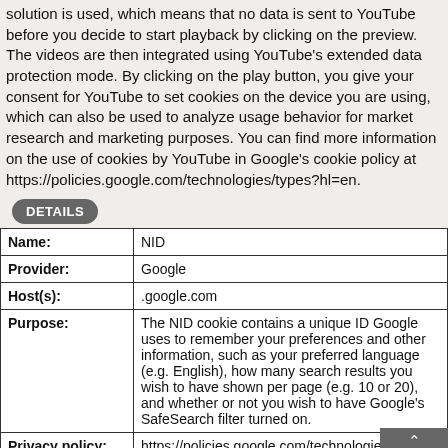solution is used, which means that no data is sent to YouTube before you decide to start playback by clicking on the preview. The videos are then integrated using YouTube's extended data protection mode. By clicking on the play button, you give your consent for YouTube to set cookies on the device you are using, which can also be used to analyze usage behavior for market research and marketing purposes. You can find more information on the use of cookies by YouTube in Google's cookie policy at https://policies.google.com/technologies/types?hl=en.
DETAILS
| Name: | NID |
| Provider: | Google |
| Host(s): | .google.com |
| Purpose: | The NID cookie contains a unique ID Google uses to remember your preferences and other information, such as your preferred language (e.g. English), how many search results you wish to have shown per page (e.g. 10 or 20), and whether or not you wish to have Google's SafeSearch filter turned on. |
| Privacy policy: | https://policies.google.com/technologies/types |
| Expiration: | 6 monts |
| Name: | CONSENT |
| Provider: | Google |